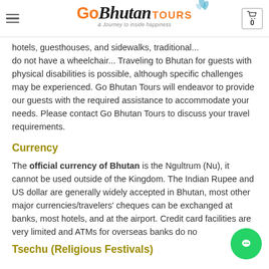Go Bhutan Tours — Journey to inside happiness
hotels, guesthouses, and sidewalks, traditional... do not have a wheelchair... Traveling to Bhutan for guests with physical disabilities is possible, although specific challenges may be experienced. Go Bhutan Tours will endeavor to provide our guests with the required assistance to accommodate your needs. Please contact Go Bhutan Tours to discuss your travel requirements.
Currency
The official currency of Bhutan is the Ngultrum (Nu), it cannot be used outside of the Kingdom. The Indian Rupee and US dollar are generally widely accepted in Bhutan, most other major currencies/travelers' cheques can be exchanged at banks, most hotels, and at the airport. Credit card facilities are very limited and ATMs for overseas banks do no
Tsechu (Religious Festivals)